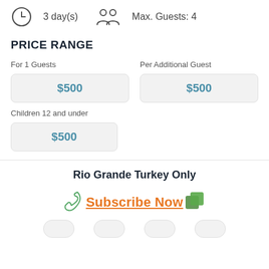3 day(s)   Max. Guests: 4
PRICE RANGE
For 1 Guests
$500
Per Additional Guest
$500
Children 12 and under
$500
Rio Grande Turkey Only
Subscribe Now